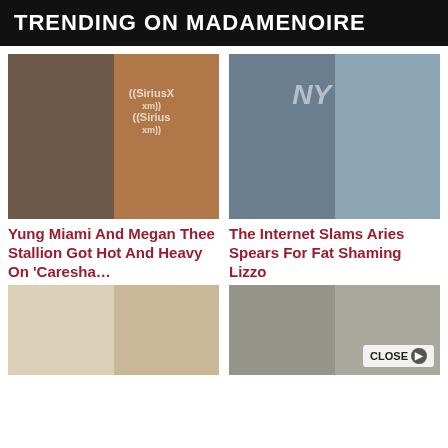TRENDING ON MADAMENOIRE
[Figure (photo): Two women posing — Yung Miami in a checkered dress and Megan Thee Stallion at a SiriusXM event in a bodysuit]
[Figure (photo): Aries Spears wearing a NY Yankees cap, close-up portrait]
Yung Miami And Megan Thee Stallion Got Hot And Heavy On 'Caresha…
The Internet Slams Aries Spears For Fat Shaming Lizzo
[Figure (photo): Blonde woman partially visible (bottom portion of page)]
[Figure (photo): Young girl with dark bob haircut partially visible with a CLOSE button overlay]